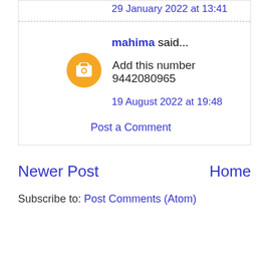29 January 2022 at 13:41
mahima said...
Add this number 9442080965
19 August 2022 at 19:48
Post a Comment
Newer Post
Home
Subscribe to: Post Comments (Atom)